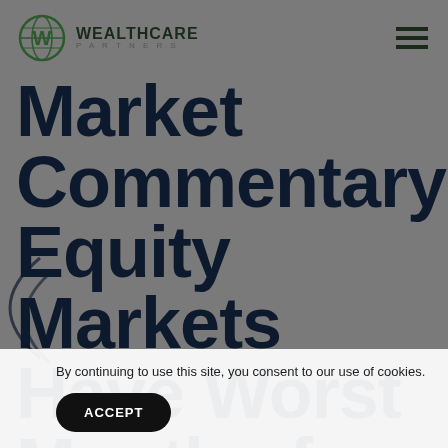WEALTHCARE PARTNERS
Market Commentary: Equity Markets Have Worst Month of Year;
By continuing to use this site, you consent to our use of cookies.
ACCEPT